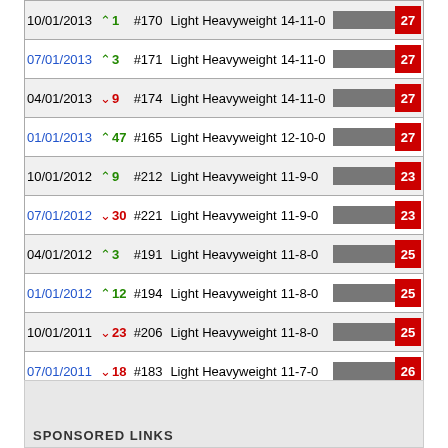| Date | Change | Rank | Class | Record | Bar | Score |
| --- | --- | --- | --- | --- | --- | --- |
| 10/01/2013 | ↑1 | #170 | Light Heavyweight | 14-11-0 |  | 27 |
| 07/01/2013 | ↑3 | #171 | Light Heavyweight | 14-11-0 |  | 27 |
| 04/01/2013 | ↓9 | #174 | Light Heavyweight | 14-11-0 |  | 27 |
| 01/01/2013 | ↑47 | #165 | Light Heavyweight | 12-10-0 |  | 27 |
| 10/01/2012 | ↑9 | #212 | Light Heavyweight | 11-9-0 |  | 23 |
| 07/01/2012 | ↓30 | #221 | Light Heavyweight | 11-9-0 |  | 23 |
| 04/01/2012 | ↑3 | #191 | Light Heavyweight | 11-8-0 |  | 25 |
| 01/01/2012 | ↑12 | #194 | Light Heavyweight | 11-8-0 |  | 25 |
| 10/01/2011 | ↓23 | #206 | Light Heavyweight | 11-8-0 |  | 25 |
| 07/01/2011 | ↓18 | #183 | Light Heavyweight | 11-7-0 |  | 26 |
| 04/01/2011 | NR | #165 | Light Heavyweight | 10-5-0 |  | 29 |
SPONSORED LINKS